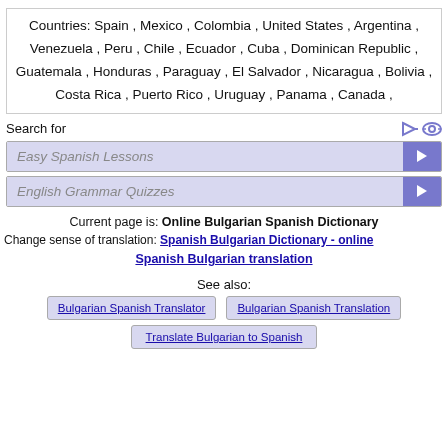Countries: Spain , Mexico , Colombia , United States , Argentina , Venezuela , Peru , Chile , Ecuador , Cuba , Dominican Republic , Guatemala , Honduras , Paraguay , El Salvador , Nicaragua , Bolivia , Costa Rica , Puerto Rico , Uruguay , Panama , Canada ,
Search for
Easy Spanish Lessons
English Grammar Quizzes
Current page is: Online Bulgarian Spanish Dictionary
Change sense of translation: Spanish Bulgarian Dictionary - online
Spanish Bulgarian translation
See also:
Bulgarian Spanish Translator
Bulgarian Spanish Translation
Translate Bulgarian to Spanish